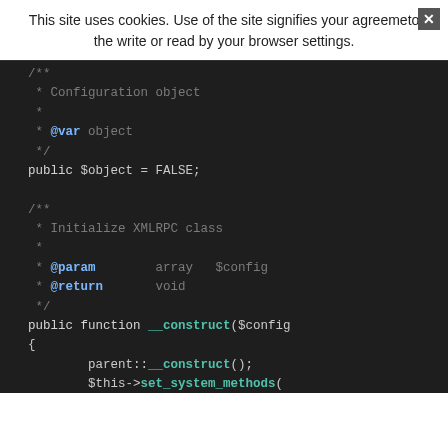This site uses cookies. Use of the site signifies your agreement to the write or read by your browser settings.
[Figure (screenshot): Dark-themed PHP code editor showing a class with a Configuration object property ($object = FALSE) and an __construct method with @param and @return docblocks, followed by parent::__construct() and $this->set_system_methods() calls.]